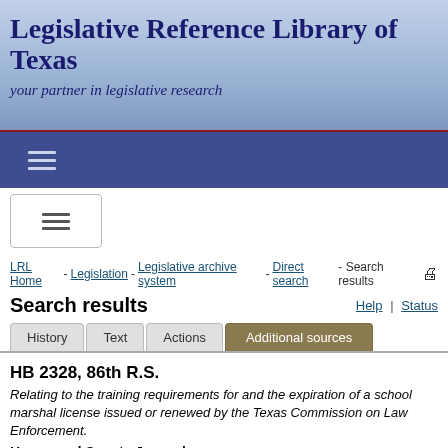Legislative Reference Library of Texas
your partner in legislative research
LRL Home - Legislation - Legislative archive system - Direct search - Search results
Search results
Help | Status
History | Text | Actions | Additional sources
HB 2328, 86th R.S.
Relating to the training requirements for and the expiration of a school marshal license issued or renewed by the Texas Commission on Law Enforcement.
House and Senate Journals
The House and Senate Journals contain the official proceedings of the House of Representatives and Senate. The Journals include the text of proposed